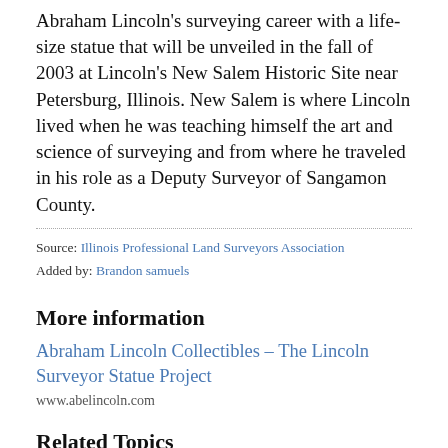Abraham Lincoln's surveying career with a life-size statue that will be unveiled in the fall of 2003 at Lincoln's New Salem Historic Site near Petersburg, Illinois. New Salem is where Lincoln lived when he was teaching himself the art and science of surveying and from where he traveled in his role as a Deputy Surveyor of Sangamon County.
Source: Illinois Professional Land Surveyors Association
Added by: Brandon samuels
More information
Abraham Lincoln Collectibles – The Lincoln Surveyor Statue Project
www.abelincoln.com
Related Topics
[Figure (photo): Landscape painting showing trees and mountains with a lake or river scene.]
American Civil